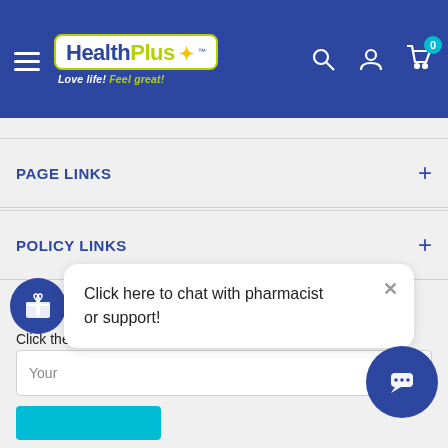[Figure (logo): HealthPlus logo with tagline 'Love life! Feel great!' on blue header bar with navigation icons]
PAGE LINKS
POLICY LINKS
NEWSLETTER
Click the subscribe button to receive news updates and information about special offers and discounts b in-store and o
Click here to chat with pharmacist or support!
Your